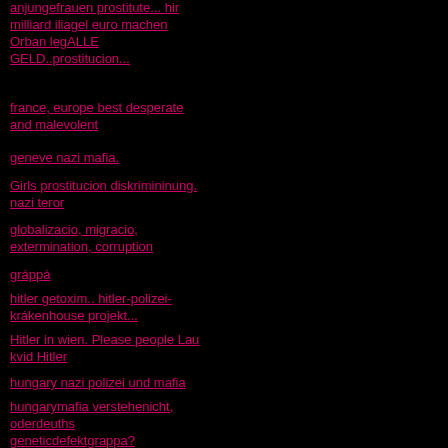anjungefrauen prostitute... hir milliard iliagel euro machen Orban legALLE GELD..prostitucion...
france, europe best desperate and malevolent
geneve nazi mafia.
Girls prostitucion diskrimininung. nazi teror
globalizacio, migracio, extermination, corruption
gráppá
hitler getoxim.. hitler-polizei-krákenhouse projekt...
Hitler in wien. Please people Lau kvid Hitler
hungary nazi polizei und mafia
hungarymafia verstehenicht, oderdeuths geneticdefektgrappa?
I do not want people to fuck because they're racists. the cigans will admit it ...
i want, idiot eu want
I was only normalle bady girls szrx
Ich libe junge frauens, aber nur in dises positure
if, france driver worlds, geneve